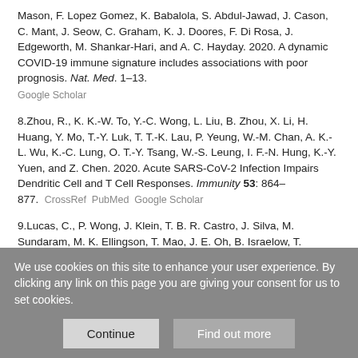Mason, F. Lopez Gomez, K. Babalola, S. Abdul-Jawad, J. Cason, C. Mant, J. Seow, C. Graham, K. J. Doores, F. Di Rosa, J. Edgeworth, M. Shankar-Hari, and A. C. Hayday. 2020. A dynamic COVID-19 immune signature includes associations with poor prognosis. Nat. Med. 1–13.
Google Scholar
8.Zhou, R., K. K.-W. To, Y.-C. Wong, L. Liu, B. Zhou, X. Li, H. Huang, Y. Mo, T.-Y. Luk, T. T.-K. Lau, P. Yeung, W.-M. Chan, A. K.-L. Wu, K.-C. Lung, O. T.-Y. Tsang, W.-S. Leung, I. F.-N. Hung, K.-Y. Yuen, and Z. Chen. 2020. Acute SARS-CoV-2 Infection Impairs Dendritic Cell and T Cell Responses. Immunity 53: 864–877. CrossRef PubMed Google Scholar
9.Lucas, C., P. Wong, J. Klein, T. B. R. Castro, J. Silva, M. Sundaram, M. K. Ellingson, T. Mao, J. E. Oh, B. Israelow, T. Takahashi, M. Tokuyama, P. Lu, A. Venkataraman, A. Park, S. Mohanty, H. Wang, A. L. Wyllie, C. B. F. Vogels, R. Earnest, S. Lapidus, I. M. Ott, A. J. Moore, M. C. Muenker, J. B. Fournier, M. Campbell, C. D. Odio, A. Casanovas-Massana, R. Herbst, A. C. Shaw, R. Medzhitov, W. L. Schulz, N. D. Grubaugh, C. Dela Cruz, S.
We use cookies on this site to enhance your user experience. By clicking any link on this page you are giving your consent for us to set cookies.